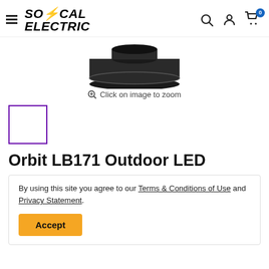SoCal Electric – navigation header with hamburger menu, logo, search, account, and cart icons
[Figure (photo): Black outdoor LED light fixture (Orbit LB171) shown from above on white background]
Click on image to zoom
[Figure (photo): Thumbnail image placeholder with purple border outline]
Orbit LB171 Outdoor LED
By using this site you agree to our Terms & Conditions of Use and Privacy Statement.
Accept